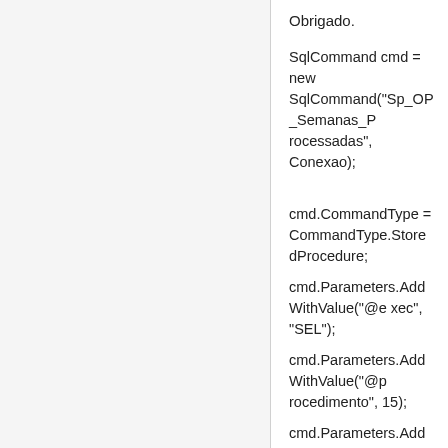Obrigado.
SqlCommand cmd = new SqlCommand("Sp_OP_Semanas_Processadas", Conexao);
cmd.CommandType = CommandType.StoredProcedure;
cmd.Parameters.AddWithValue("@exec", "SEL");
cmd.Parameters.AddWithValue("@procedimento", 15);
cmd.Parameters.AddWithValue("@Cd_Empresa", Session["cd_empresa"].ToString());
cmd.Parameters.AddWithValue("@MIGRACAO", 1);